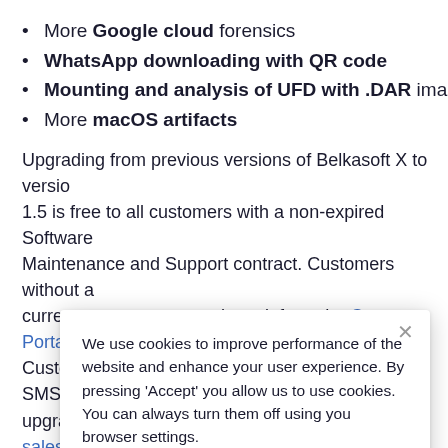More Google cloud forensics
WhatsApp downloading with QR code
Mounting and analysis of UFD with .DAR images insid
More macOS artifacts
Upgrading from previous versions of Belkasoft X to versio 1.5 is free to all customers with a non-expired Software Maintenance and Support contract. Customers without a current contract can purchase it from the Customer Portal. Customers with a valid Belkasoft Evidence Center SMS, can upgrade with discounts: please contact sales@belkasoft.co fc
A e.
N
[Figure (screenshot): Cookie consent modal dialog with text: 'We use cookies to improve performance of the website and enhance your user experience. By pressing Accept you allow us to use cookies. You can always turn them off using you browser settings.' with an orange Accept button and a close X button.]
F
The File System viewer shows the Browsin